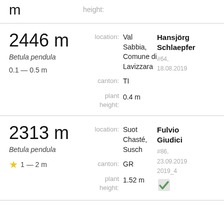m   height:
2446 m | Betula pendula | 0.1 — 0.5 m | location: Val Sabbia, Comune di Lavizzara | canton: TI | plant height: 0.4 m | Hansjörg Schlaepfer | #64, 18.08.2019
2313 m | Betula pendula | ★ 1 — 2 m | location: Suot Chasté, Susch | canton: GR | plant height: 1.52 m | Fulvio Giudici | #86, 23.09.2019 | 2019_4 | ✔